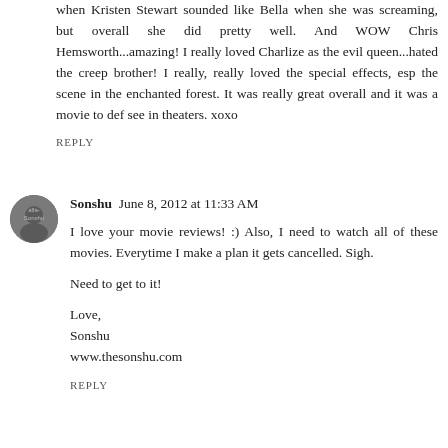when Kristen Stewart sounded like Bella when she was screaming, but overall she did pretty well. And WOW Chris Hemsworth...amazing! I really loved Charlize as the evil queen...hated the creep brother! I really, really loved the special effects, esp the scene in the enchanted forest. It was really great overall and it was a movie to def see in theaters. xoxo
REPLY
Sonshu  June 8, 2012 at 11:33 AM
I love your movie reviews! :) Also, I need to watch all of these movies. Everytime I make a plan it gets cancelled. Sigh.

Need to get to it!

Love,
Sonshu
www.thesonshu.com
REPLY